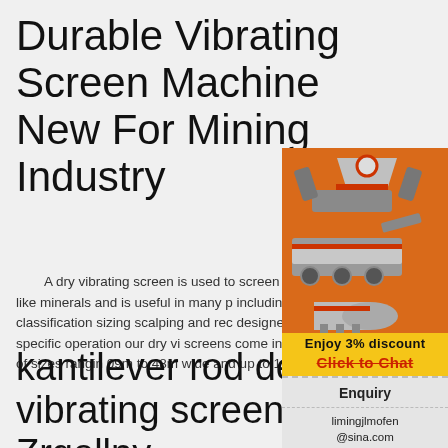Durable Vibrating Screen Machine New For Mining Industry
A dry vibrating screen is used to screen dry products like minerals and is useful in many processes including classification sizing scalping and recl designed for your specific operation our dry vi screens come in a wide range of sizes ranging 09m to 48m wide and up to 110m long.
[Figure (illustration): Orange sidebar advertisement panel with mining machinery illustrations (cone crusher, mobile crusher, ball mill), a yellow discount bar reading 'Enjoy 3% discount', a yellow 'Click to Chat' button in red text, an Enquiry section, and email limingjlmofen@sina.com]
kantilever rod dec vibrating screen - Zrgellny